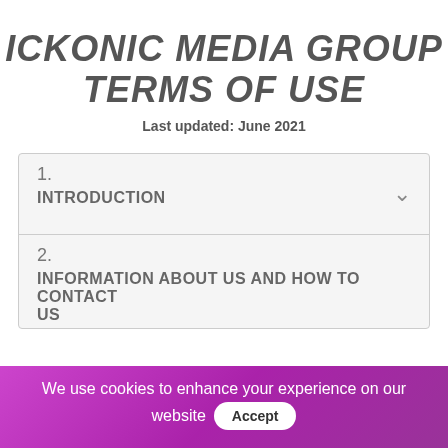ICKONIC MEDIA GROUP TERMS OF USE
Last updated: June 2021
1. INTRODUCTION
2. INFORMATION ABOUT US AND HOW TO CONTACT US
We use cookies to enhance your experience on our website Accept